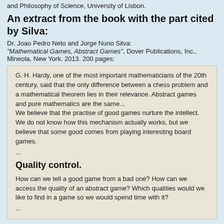and Philosophy of Science, University of Lisbon.
An extract from the book with the part cited by Silva:
Dr. Joao Pedro Neto and Jorge Nuno Silva:
"Mathematical Games, Abstract Games", Dover Publications, Inc., Mineola, New York. 2013. 200 pages:
G. H. Hardy, one of the most important mathematicians of the 20th century, said that the only difference between a chess problem and a mathematical theorem lies in their relevance. Abstract games and pure mathematics are the same...
We believe that the practise of good games nurture the intellect. We do not know how this mechanism actually works, but we believe that some good comes from playing interesting board games.
...
Quality control.
How can we tell a good game from a bad one? How can we access the quality of an abstract game? Which qualities would we like to find in a game so we would spend time with it?
...